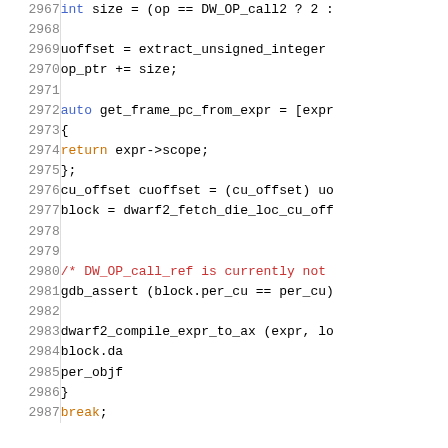[Figure (screenshot): Source code listing showing C++ code lines 2967-2987 with syntax highlighting. Line numbers in grey on the left, code on the right with keywords in orange/blue, comments in red, and identifiers in black monospace font.]